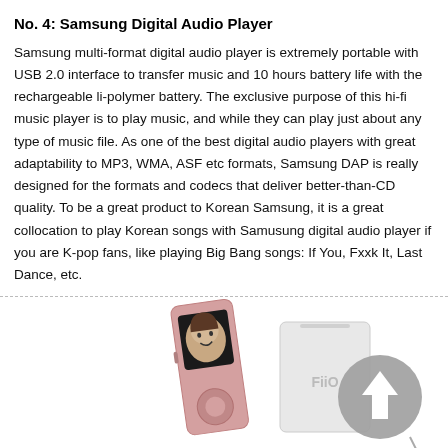No. 4: Samsung Digital Audio Player
Samsung multi-format digital audio player is extremely portable with USB 2.0 interface to transfer music and 10 hours battery life with the rechargeable li-polymer battery. The exclusive purpose of this hi-fi music player is to play music, and while they can play just about any type of music file. As one of the best digital audio players with great adaptability to MP3, WMA, ASF etc formats, Samsung DAP is really designed for the formats and codecs that deliver better-than-CD quality. To be a great product to Korean Samsung, it is a great collocation to play Korean songs with Samusung digital audio player if you are K-pop fans, like playing Big Bang songs: If You, Fxxk It, Last Dance, etc.
[Figure (photo): Two digital audio players shown at the bottom of the page — a slim rose gold MP3 player and a white rectangular FiiO device with a circular back-to-top arrow overlay.]